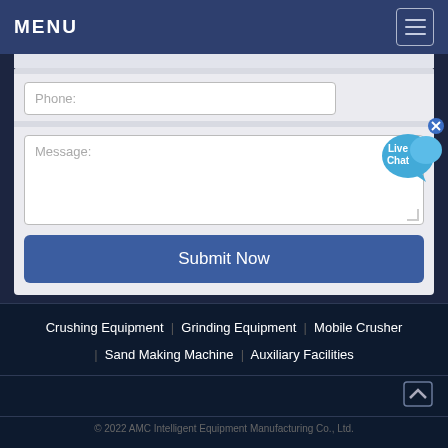MENU
[Figure (screenshot): Website contact form with Phone field, Message textarea, and Submit Now button on a grey card background]
[Figure (illustration): Live Chat speech bubble icon with blue color and X close button]
Crushing Equipment | Grinding Equipment | Mobile Crusher | Sand Making Machine | Auxiliary Facilities
© 2022 AMC Intelligent Equipment Manufacturing Co., Ltd.